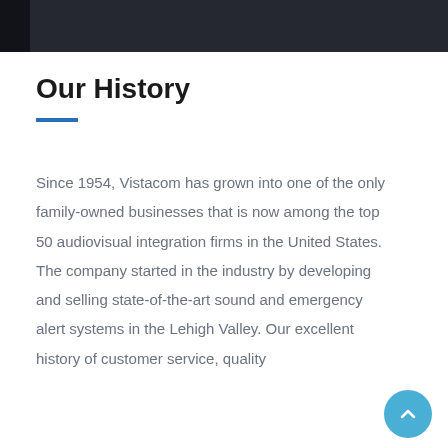Our History
Since 1954, Vistacom has grown into one of the only family-owned businesses that is now among the top 50 audiovisual integration firms in the United States. The company started in the industry by developing and selling state-of-the-art sound and emergency alert systems in the Lehigh Valley. Our excellent history of customer service, quality